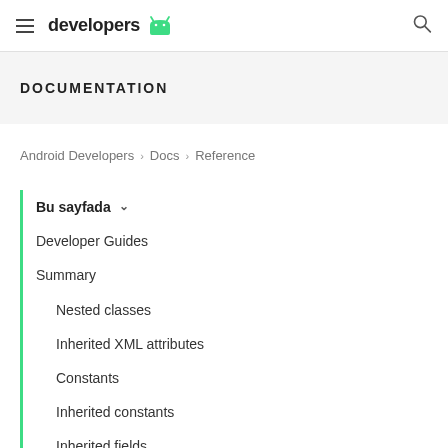developers [android logo]
DOCUMENTATION
Android Developers > Docs > Reference
Bu sayfada
Developer Guides
Summary
Nested classes
Inherited XML attributes
Constants
Inherited constants
Inherited fields
Public constructors
...